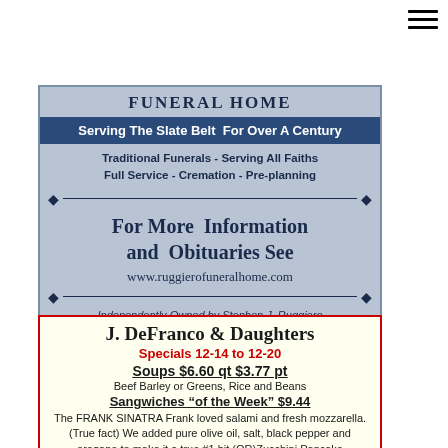[Figure (other): Hamburger menu icon (three horizontal lines) in top right corner]
[Figure (other): Ruggiero Funeral Home advertisement. Blue-gray background with dark blue banner reading 'Serving The Slate Belt For Over A Century'. Services listed: Traditional Funerals - Serving All Faiths, Full Service - Cremation - Pre-planning. Large text: For More Information and Obituaries See. Website: www.ruggierofuneralhome.com. Independently Owned by Stephen J. Ruggiero. 126 PENNSYLVANIA AVE., PEN ARGYL, PA. PH: 610-863-5750 FAX: 610-863-8537]
[Figure (other): J. DeFranco & Daughters advertisement with red border on cream background. Specials 12-14 to 12-20. Soups $6.60 qt $3.77 pt - Beef Barley or Greens, Rice and Beans. Sangwiches 'of the Week' $9.44 - The FRANK SINATRA Frank. Weekly Specials & Sides $14.15 each. Monday* Pork cacciatore over rice. Turkey Tuesday * Hot & fennel Turkey sausage / vinegar peppers.]